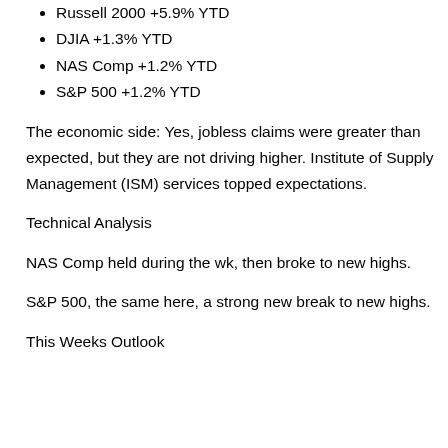Russell 2000 +5.9% YTD
DJIA +1.3% YTD
NAS Comp +1.2% YTD
S&P 500 +1.2% YTD
The economic side: Yes, jobless claims were greater than expected, but they are not driving higher. Institute of Supply Management (ISM) services topped expectations.
Technical Analysis
NAS Comp held during the wk, then broke to new highs.
S&P 500, the same here, a strong new break to new highs.
This Weeks Outlook